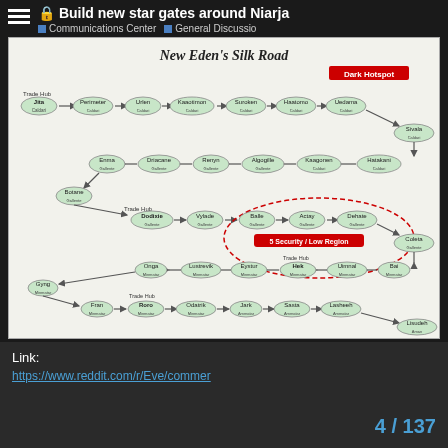Build new star gates around Niarja
Communications Center   General Discussio
[Figure (network-graph): New Eden's Silk Road - a network graph showing trade routes through various star systems including Trade Hubs at Jita, Dodixie, Hek, Rens, and Amarr, with nodes for systems like Perimeter, Urlen, Kaaotimon, Suroken, Haatomo, Uedama, Sivala, Hatakani, Kaagonen, Algogille, Renyn, Driacane, Enma, Botane, Vylade, Balle, Actay, Dehate, Coleta, Bai, Uimnal, Eystur, Lustrevik, Onga, Gyng, Fran, Roro, Odatrik, Jark, Sasta, Lasheeh, Lisudeh, Eredan, Mehastee, Ghath, Sasoukh, Ohide, Odin, Esescama, Uadatan, Hati, Yuhelia, Barna, Bagodan, Hama. Features a Dark Hotspot label in red, and a 5 Security Low region marked with dashed red circle.]
Link:
https://www.reddit.com/r/Eve/commer
4 / 137